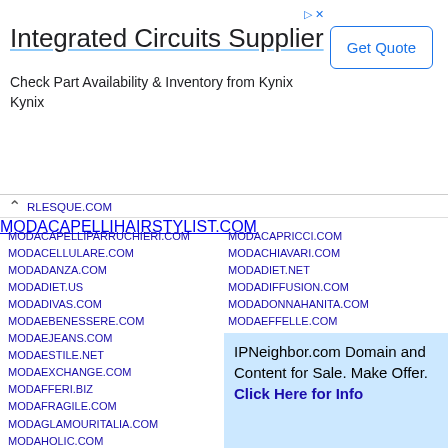[Figure (other): Advertisement banner for Integrated Circuits Supplier - Kynix with Get Quote button]
RLESQUE.COM
MODACAPELLIHAIRSTYLIST.COM
MODACAPELLIPARRUCHIERI.COM
MODACAPRICCI.COM
MODACELLULARE.COM
MODACHIAVARI.COM
MODADANZA.COM
MODADIET.NET
MODADIET.US
MODADIFFUSION.COM
MODADIVAS.COM
MODADONNAHANITA.COM
MODAEBENESSERE.COM
MODAEFFELLE.COM
MODAEJEANS.COM
MODAESPIAGGIA.COM
MODAESTILE.NET
MODAESTRELLA.COM
MODAEXCHANGE.COM
MODAEXCHANGE.NET
MODAFFERI.BIZ
MODAFIRMATA.COM
MODAFRAGILE.COM
MODAFULL.COM
MODAGLAMOURITALIA.COM
MODAGLAMOURKR.COM
MODAHOLIC.COM
MODAICO.COM
MODAINMOVIMENTO.COM
MODAITALIA.ORG
MODALAVORO.NET
MODALINES.US
MODALMERCATO.COM
MODALNODES.ORG
MODAMAGLIA.NET
MODANELLAVORO.COM
MODAOUTLETFORNITURE.COM
MODAPIU1.COM
MODARESEARCH.INFO
IPNeighbor.com Domain and Content for Sale. Make Offer. Click Here for Info